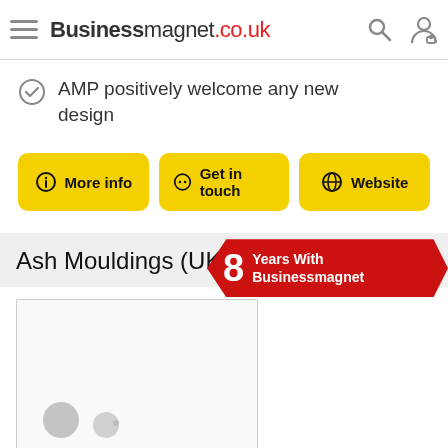Businessmagnet.co.uk
AMP positively welcome any new design
More info | Get in touch | Website
Ash Mouldings (UK) Ltd
8 Years With Businessmagnet
[Figure (photo): Company listing image placeholder with light grey background and circles]